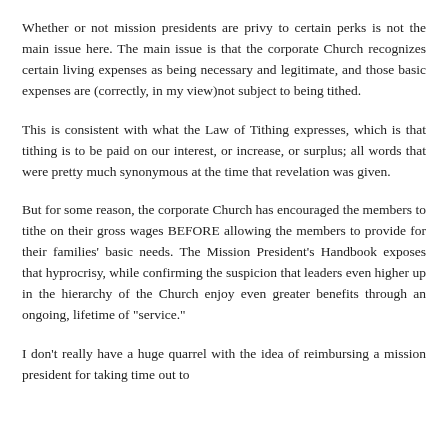Whether or not mission presidents are privy to certain perks is not the main issue here. The main issue is that the corporate Church recognizes certain living expenses as being necessary and legitimate, and those basic expenses are (correctly, in my view)not subject to being tithed.
This is consistent with what the Law of Tithing expresses, which is that tithing is to be paid on our interest, or increase, or surplus; all words that were pretty much synonymous at the time that revelation was given.
But for some reason, the corporate Church has encouraged the members to tithe on their gross wages BEFORE allowing the members to provide for their families' basic needs. The Mission President's Handbook exposes that hyprocrisy, while confirming the suspicion that leaders even higher up in the hierarchy of the Church enjoy even greater benefits through an ongoing, lifetime of "service."
I don't really have a huge quarrel with the idea of reimbursing a mission president for taking time out to